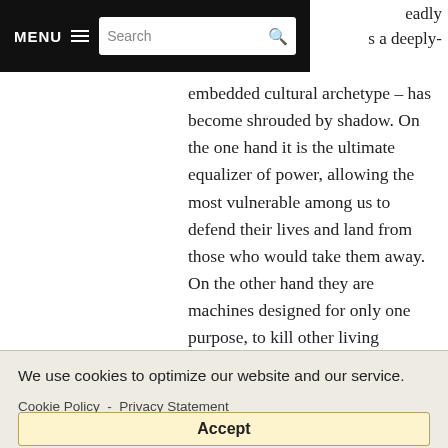MENU  Search
eadly s a deeply- embedded cultural archetype — has become shrouded by shadow. On the one hand it is the ultimate equalizer of power, allowing the most vulnerable among us to defend their lives and land from those who would take them away. On the other hand they are machines designed for only one purpose, to kill other living creatures — and we are seeing
We use cookies to optimize our website and our service.
Cookie Policy - Privacy Statement
Accept